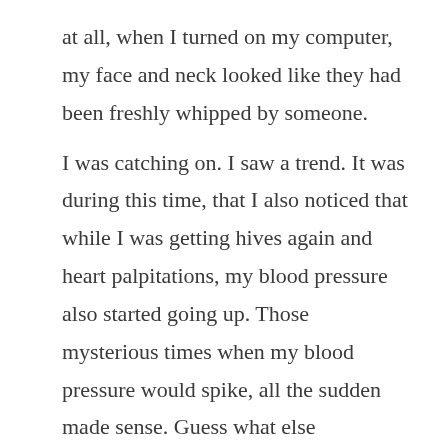at all, when I turned on my computer, my face and neck looked like they had been freshly whipped by someone.

I was catching on. I saw a trend. It was during this time, that I also noticed that while I was getting hives again and heart palpitations, my blood pressure also started going up. Those mysterious times when my blood pressure would spike, all the sudden made sense. Guess what else happened? Simmi would get out of control. Yes, that sweet child who was helpful,